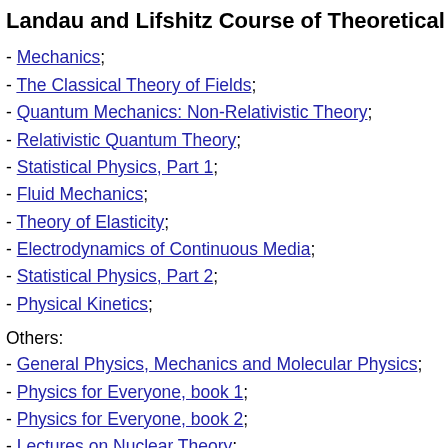Landau and Lifshitz Course of Theoretical Ph
- Mechanics;
- The Classical Theory of Fields;
- Quantum Mechanics: Non-Relativistic Theory;
- Relativistic Quantum Theory;
- Statistical Physics, Part 1;
- Fluid Mechanics;
- Theory of Elasticity;
- Electrodynamics of Continuous Media;
- Statistical Physics, Part 2;
- Physical Kinetics;
Others:
- General Physics, Mechanics and Molecular Physics;
- Physics for Everyone, book 1;
- Physics for Everyone, book 2;
- Lectures on Nuclear Theory;
Computation: